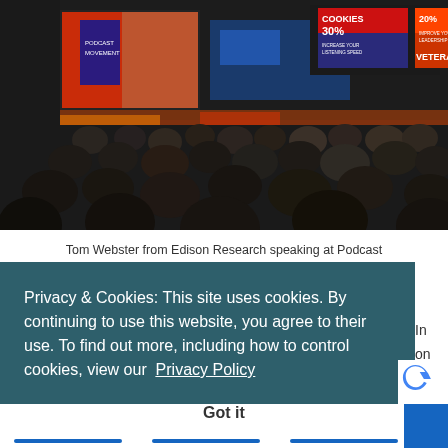[Figure (photo): Conference hall photo showing Tom Webster from Edison Research speaking at Podcast Movement 2015. Large audience seated facing a colorful stage with screens showing '30% COOKIES' and '20% VETERANS' promotional banners.]
Tom Webster from Edison Research speaking at Podcast Movement 2015
Privacy & Cookies: This site uses cookies. By continuing to use this website, you agree to their use. To find out more, including how to control cookies, view our Privacy Policy
Got it